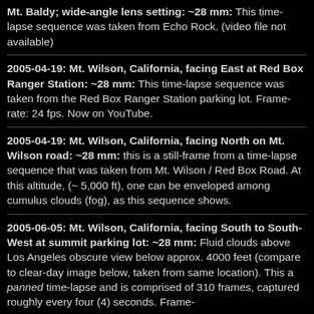Mt. Baldy; wide-angle lens setting: ~28 mm: This time-lapse sequence was taken from Echo Rock. (video file not available)
2005-04-19: Mt. Wilson, California, facing East at Red Box Ranger Station: ~28 mm: This time-lapse sequence was taken from the Red Box Ranger Station parking lot. Frame-rate: 24 fps. Now on YouTube.
2005-04-19: Mt. Wilson, California, facing North on Mt. Wilson road: ~28 mm: this is a still-frame from a time-lapse sequence that was taken from Mt. Wilson / Red Box Road. At this altitude, (~ 5,000 ft), one can be enveloped among cumulus clouds (fog), as this sequence shows.
2005-06-05: Mt. Wilson, California, facing South to South-West at summit parking lot: ~28 mm: Fluid clouds above Los Angeles obscure view below approx. 4000 feet (compare to clear-day image below, taken from same location). This a panned time-lapse and is comprised of 310 frames, captured roughly every four (4) seconds. Frame-